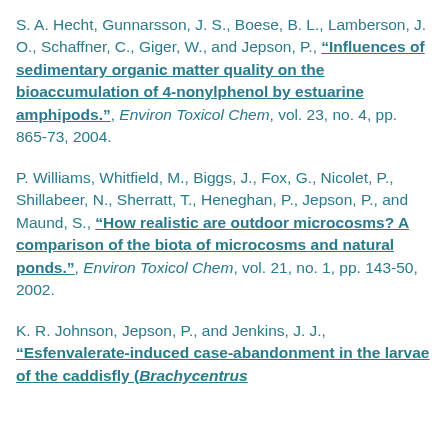S. A. Hecht, Gunnarsson, J. S., Boese, B. L., Lamberson, J. O., Schaffner, C., Giger, W., and Jepson, P., "Influences of sedimentary organic matter quality on the bioaccumulation of 4-nonylphenol by estuarine amphipods.", Environ Toxicol Chem, vol. 23, no. 4, pp. 865-73, 2004.
P. Williams, Whitfield, M., Biggs, J., Fox, G., Nicolet, P., Shillabeer, N., Sherratt, T., Heneghan, P., Jepson, P., and Maund, S., "How realistic are outdoor microcosms? A comparison of the biota of microcosms and natural ponds.", Environ Toxicol Chem, vol. 21, no. 1, pp. 143-50, 2002.
K. R. Johnson, Jepson, P., and Jenkins, J. J., "Esfenvalerate-induced case-abandonment in the larvae of the caddisfly (Brachycentrus...